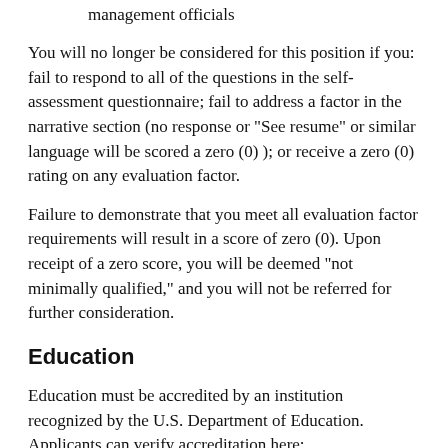management officials
You will no longer be considered for this position if you: fail to respond to all of the questions in the self-assessment questionnaire; fail to address a factor in the narrative section (no response or "See resume" or similar language will be scored a zero (0) ); or receive a zero (0) rating on any evaluation factor.
Failure to demonstrate that you meet all evaluation factor requirements will result in a score of zero (0). Upon receipt of a zero score, you will be deemed "not minimally qualified," and you will not be referred for further consideration.
Education
Education must be accredited by an institution recognized by the U.S. Department of Education. Applicants can verify accreditation here: